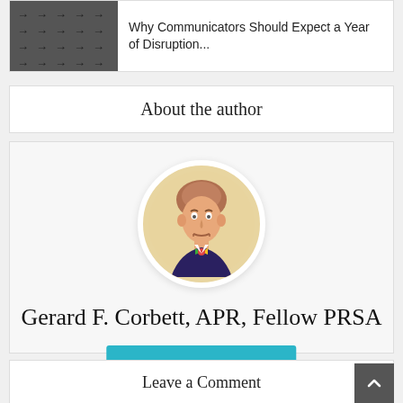[Figure (screenshot): Article preview thumbnail showing a grid of arrow symbols on a dark background]
Why Communicators Should Expect a Year of Disruption...
About the author
[Figure (illustration): Circular portrait illustration of Gerard F. Corbett, APR, Fellow PRSA — a man with reddish-brown hair wearing a dark suit and colorful bow tie, painted in a stylized manner against a beige background]
Gerard F. Corbett, APR, Fellow PRSA
View all posts
Leave a Comment